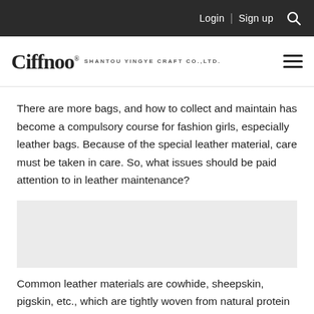Login | Sign up [search icon]
[Figure (logo): Ciffnoo logo with text 'SHANTOU YINGYE CRAFT CO.,LTD.' and hamburger menu icon]
There are more bags, and how to collect and maintain has become a compulsory course for fashion girls, especially leather bags. Because of the special leather material, care must be taken in care. So, what issues should be paid attention to in leather maintenance?
[Figure (photo): Placeholder image area (blank/grey area representing a photo on the page)]
Common leather materials are cowhide, sheepskin, pigskin, etc., which are tightly woven from natural protein fibers, so they are prone to moisture, mold, and insects. Therefore, whether it is a leather bag or a leather bag, it is necessary to avoid contact with